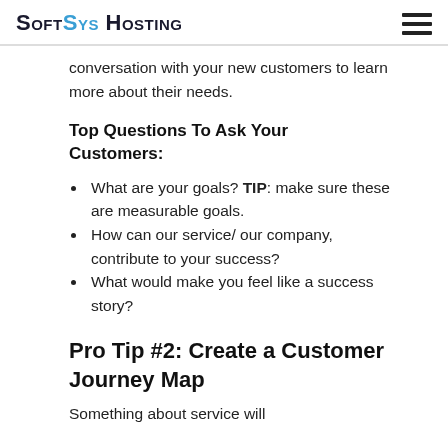SoftSys Hosting
conversation with your new customers to learn more about their needs.
Top Questions To Ask Your Customers:
What are your goals? TIP: make sure these are measurable goals.
How can our service/ our company, contribute to your success?
What would make you feel like a success story?
Pro Tip #2: Create a Customer Journey Map
Something about service will